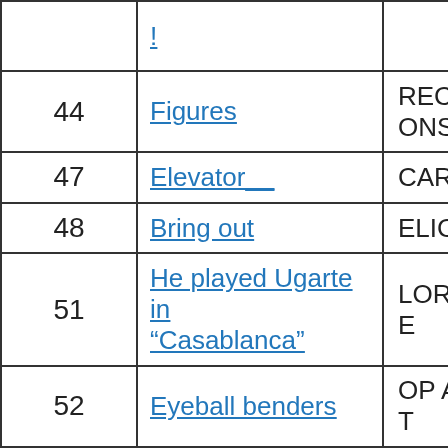| # | Clue | Answer |
| --- | --- | --- |
|  | ! |  |
| 44 | Figures | RECKONS |
| 47 | Elevator__ | CAR |
| 48 | Bring out | ELICIT |
| 51 | He played Ugarte in “Casablanca” | LORRE |
| 52 | Eyeball benders | OP ART |